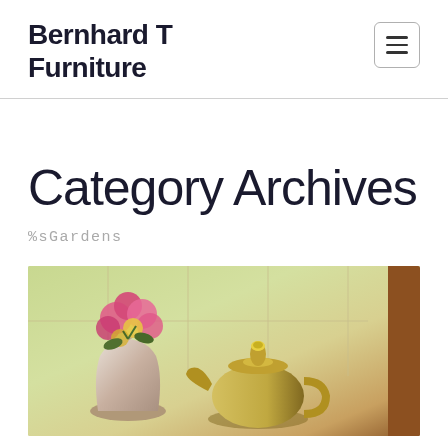Bernhard T Furniture
Category Archives
%sGardens
[Figure (photo): A photo of a floral arrangement with pink and yellow flowers in a colorful pitcher, alongside a yellow teapot, placed near a window with garden views in the background.]